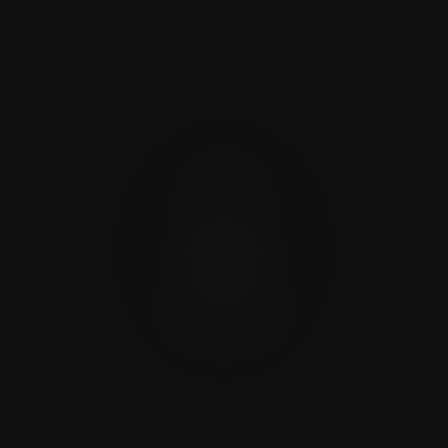[Figure (photo): A nearly black, very dark image with extremely low contrast. The image appears to show a faint silhouette or dark form in the center, barely distinguishable from the background. The overall appearance is a near-uniform black frame.]